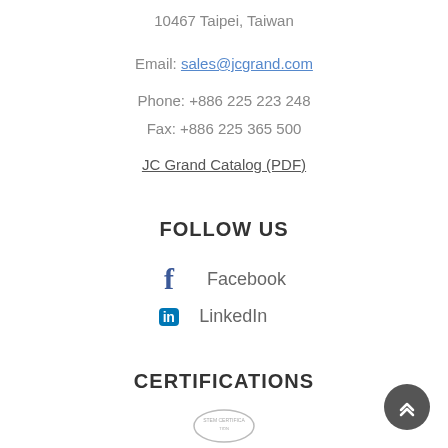10467 Taipei, Taiwan
Email: sales@jcgrand.com
Phone: +886 225 223 248
Fax: +886 225 365 500
JC Grand Catalog (PDF)
FOLLOW US
Facebook
LinkedIn
CERTIFICATIONS